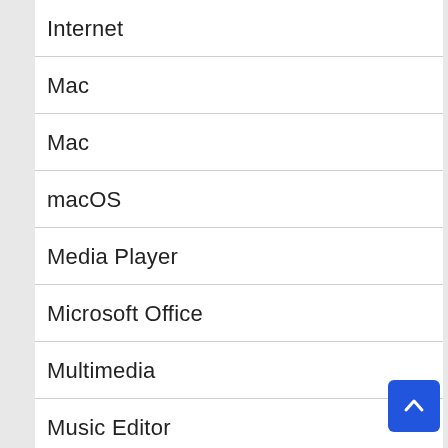Internet
Mac
Mac
macOS
Media Player
Microsoft Office
Multimedia
Music Editor